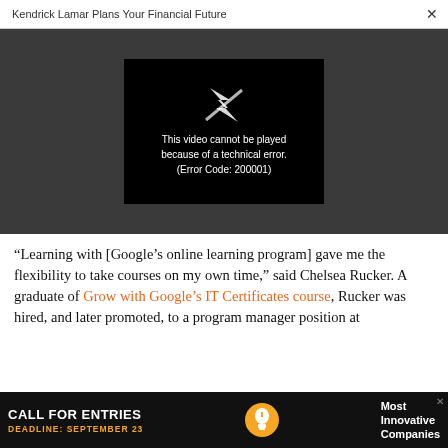Kendrick Lamar Plans Your Financial Future  ×
[Figure (screenshot): Video player showing error message: 'This video cannot be played because of a technical error. (Error Code: 200001)' on a dark background with a broken play icon]
“Learning with [Google’s online learning program] gave me the flexibility to take courses on my own time,” said Chelsea Rucker. A graduate of Grow with Google’s IT Certificates course, Rucker was hired, and later promoted, to a program manager position at
[Figure (infographic): Advertisement banner: CALL FOR ENTRIES, DEADLINE: SEPTEMBER 23, lightbulb icon, Most Innovative Companies]